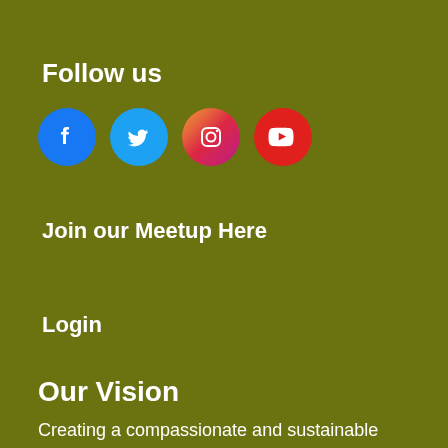Follow us
[Figure (infographic): Four social media icon circles in a row: Facebook (blue), Twitter (light blue), Instagram (gradient pink/red), YouTube (red)]
Join our Meetup Here
Login
Our Vision
Creating a compassionate and sustainable world through personal, community, and cultural